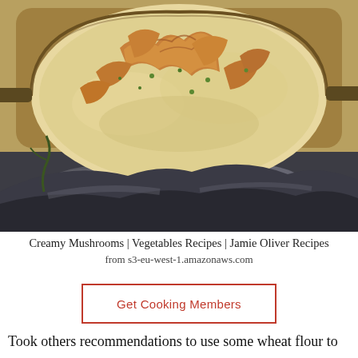[Figure (photo): A cast iron pan filled with creamy mushrooms (chanterelles) sitting on rocks over what appears to be an outdoor fire. The mushrooms are cooked in a cream sauce with herbs. The rocks beneath are grey and dark, suggesting an outdoor campfire setting.]
Creamy Mushrooms | Vegetables Recipes | Jamie Oliver Recipes from s3-eu-west-1.amazonaws.com
Get Cooking Members
Took others recommendations to use some wheat flour to